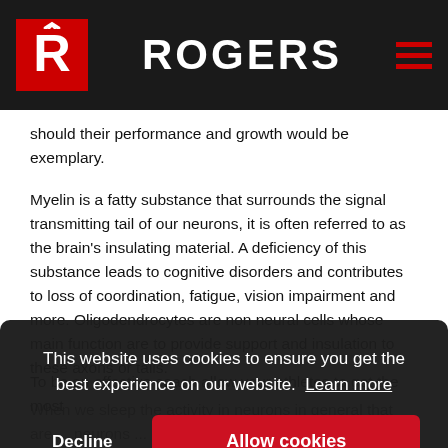ROGERS
should their performance and growth would be exemplary.
Myelin is a fatty substance that surrounds the signal transmitting tail of our neurons, it is often referred to as the brain's insulating material. A deficiency of this substance leads to cognitive disorders and contributes to loss of coordination, fatigue, vision impairment and more. Oligodendrocytes are non neural cells whose main function are to provide support and insulation to these axons or tails.
When we sleep the activity in neurons in general that ... neurons ... ional ... and will ... without attention have an ... e.
To be an effective coach allow your athletes to get the most
This website uses cookies to ensure you get the best experience on our website. Learn more
Decline
Allow cookies